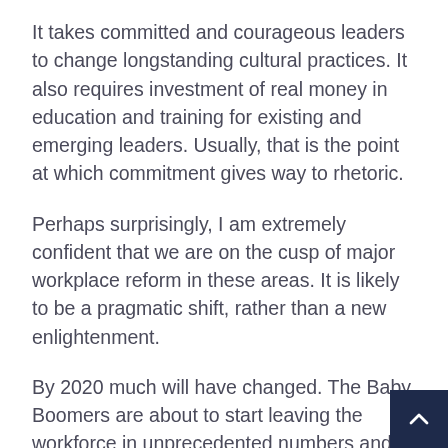It takes committed and courageous leaders to change longstanding cultural practices. It also requires investment of real money in education and training for existing and emerging leaders. Usually, that is the point at which commitment gives way to rhetoric.
Perhaps surprisingly, I am extremely confident that we are on the cusp of major workplace reform in these areas. It is likely to be a pragmatic shift, rather than a new enlightenment.
By 2020 much will have changed. The Baby Boomers are about to start leaving the workforce in unprecedented numbers and a new war for talent will force the hand of even the most cynical workplaces. Smart leaders make the necessary changes because they understand the bene...